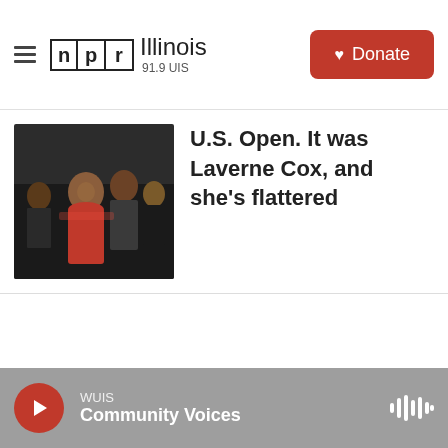NPR Illinois 91.9 UIS
[Figure (photo): Photo of people at an event, woman in red dress visible]
U.S. Open. It was Laverne Cox, and she's flattered
WUIS Community Voices